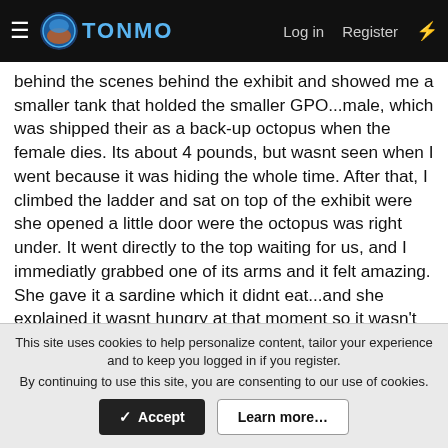TONMO  Log in  Register
behind the scenes behind the exhibit and showed me a smaller tank that holded the smaller GPO...male, which was shipped their as a back-up octopus when the female dies. Its about 4 pounds, but wasnt seen when I went because it was hiding the whole time. After that, I climbed the ladder and sat on top of the exhibit were she opened a little door were the octopus was right under. It went directly to the top waiting for us, and I immediatly grabbed one of its arms and it felt amazing. She gave it a sardine which it didnt eat...and she explained it wasnt hungry at that moment so it wasn't using any suction pressure at all when I sent time with it. The suckers were huge, about 3 inches wide at the base of the arms. I rubbed my hands over the suckers and they felt like lilly pads, lol...not sucking at all and continuesly drifting down, then coming back up to us in total enthusiasm.
This site uses cookies to help personalize content, tailor your experience and to keep you logged in if you register.
By continuing to use this site, you are consenting to our use of cookies.